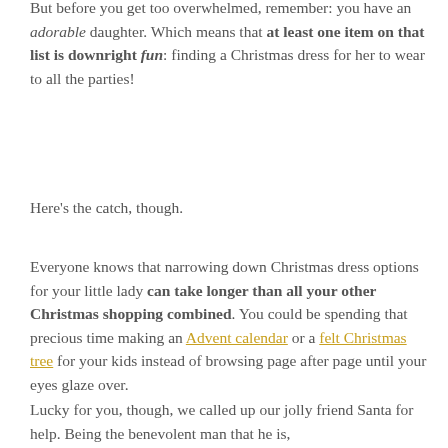But before you get too overwhelmed, remember: you have an adorable daughter. Which means that at least one item on that list is downright fun: finding a Christmas dress for her to wear to all the parties!
Here's the catch, though.
Everyone knows that narrowing down Christmas dress options for your little lady can take longer than all your other Christmas shopping combined. You could be spending that precious time making an Advent calendar or a felt Christmas tree for your kids instead of browsing page after page until your eyes glaze over.
Lucky for you, though, we called up our jolly friend Santa for help. Being the benevolent man that he is,